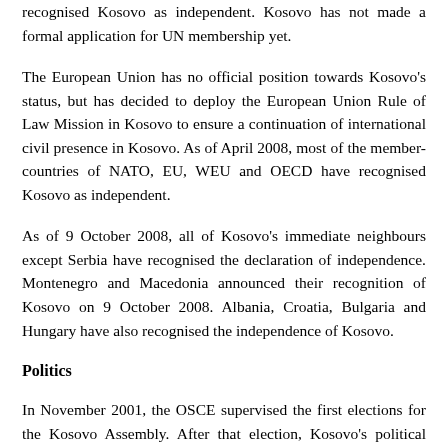recognised Kosovo as independent. Kosovo has not made a formal application for UN membership yet.
The European Union has no official position towards Kosovo's status, but has decided to deploy the European Union Rule of Law Mission in Kosovo to ensure a continuation of international civil presence in Kosovo. As of April 2008, most of the member-countries of NATO, EU, WEU and OECD have recognised Kosovo as independent.
As of 9 October 2008, all of Kosovo's immediate neighbours except Serbia have recognised the declaration of independence. Montenegro and Macedonia announced their recognition of Kosovo on 9 October 2008. Albania, Croatia, Bulgaria and Hungary have also recognised the independence of Kosovo.
Politics
In November 2001, the OSCE supervised the first elections for the Kosovo Assembly. After that election, Kosovo's political parties formed an all-party unity coalition.